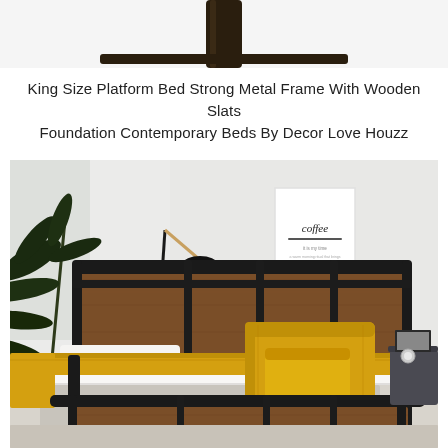[Figure (photo): Partial top view of a black metal bed post/frame corner against a white background]
King Size Platform Bed Strong Metal Frame With Wooden Slats Foundation Contemporary Beds By Decor Love Houzz
[Figure (photo): King size platform bed with black metal frame and wooden slat headboard and footboard, white bedding with yellow/mustard accent pillow and throw blanket, floor lamp, palm plant, and coffee art print on wall in a modern bedroom setting]